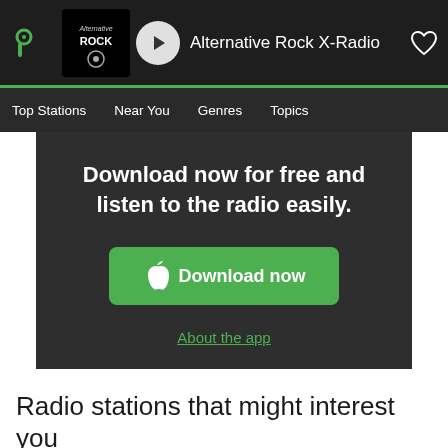Alternative Rock X-Radio
Top Stations   Near You   Genres   Topics
Download now for free and listen to the radio easily.
Download now
About the app
Radio stations that might interest you